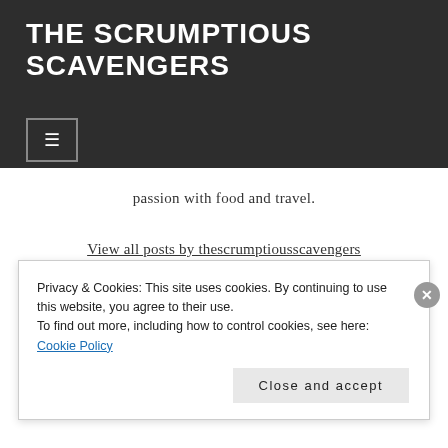THE SCRUMPTIOUS SCAVENGERS
[Figure (other): Menu toggle button with hamburger icon (three horizontal lines) in a bordered square on dark background]
passion with food and travel.
View all posts by thescrumptiousscavengers
Privacy & Cookies: This site uses cookies. By continuing to use this website, you agree to their use.
To find out more, including how to control cookies, see here:
Cookie Policy
Close and accept